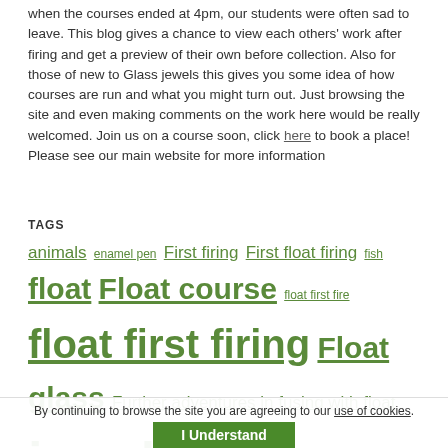when the courses ended at 4pm, our students were often sad to leave. This blog gives a chance to view each others' work after firing and get a preview of their own before collection. Also for those of new to Glass jewels this gives you some idea of how courses are run and what you might turn out. Just browsing the site and even making comments on the work here would be really welcomed. Join us on a course soon, click here to book a place! Please see our main website for more information
TAGS
animals enamel pen First firing First float firing fish float Float course float first fire float first firing Float glass Further adventures in fusing with float jewellery jewellery course leaf microwave party trees Wiley
By continuing to browse the site you are agreeing to our use of cookies. I Understand